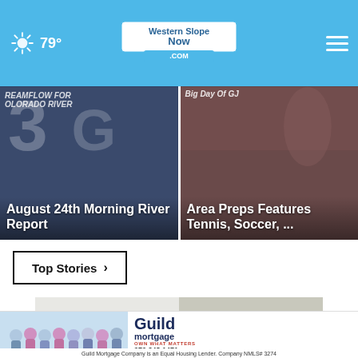79° WesternSlopeNow.com
[Figure (screenshot): News card: August 24th Morning River Report over streamflow background image]
[Figure (screenshot): News card: Big Day Of GJ Area Preps Features Tennis, Soccer, ... with sports photo]
Top Stories ›
[Figure (photo): Close-up photo of person's ankle/shoe area, white sneaker]
[Figure (photo): Guild Mortgage advertisement banner with team photo. Text: Guild Mortgage Company is an Equal Housing Lender. Company NMLS# 3274. 970.243.1471]